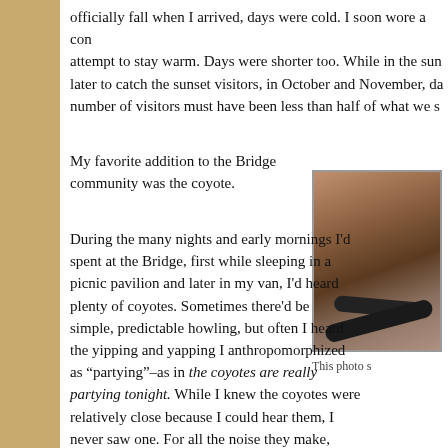officially fall when I arrived, days were cold. I soon wore a con attempt to stay warm. Days were shorter too. While in the sun later to catch the sunset visitors, in October and November, da number of visitors must have been less than half of what we s
My favorite addition to the Bridge community was the coyote.
[Figure (photo): Close-up photo of what appears to be a snake on rocky/sandy ground]
This photo s
During the many nights and early mornings I'd spent at the Bridge, first while sleeping in a picnic pavilion and later in my van, I'd heard plenty of coyotes. Sometimes there'd be simple, predictable howling, but often I heard the yipping and yapping I anthropomorphized as “partying”–as in the coyotes are really partying tonight. While I knew the coyotes were relatively close because I could hear them, I never saw one. For all the noise they make, coyotes know how to be visibly discreet, so I was surprised to see one skulking around in the sage on the highway side of the fence, pretty close to whe